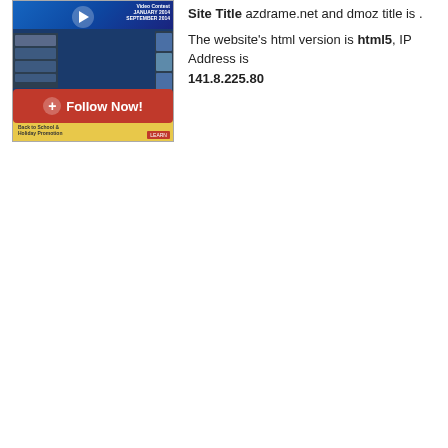[Figure (screenshot): Screenshot of azdrame.net website showing a video contest page with a blue background, play button, sidebar, and a red Follow Now! button]
Site Title azdrame.net and dmoz title is . The website's html version is html5, IP Address is 141.8.225.80